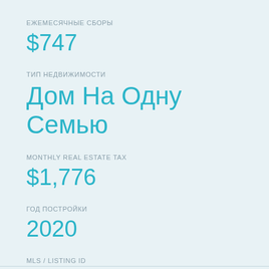ЕЖЕМЕСЯЧНЫЕ СБОРЫ
$747
ТИП НЕДВИЖИМОСТИ
Дом На Одну Семью
MONTHLY REAL ESTATE TAX
$1,776
ГОД ПОСТРОЙКИ
2020
MLS / LISTING ID
О6019853